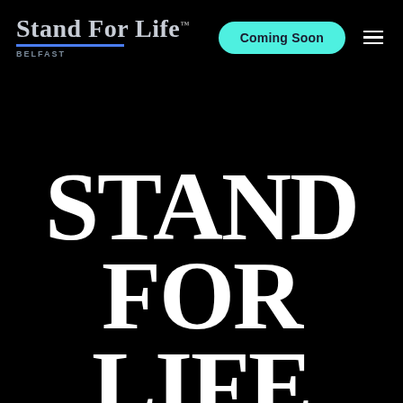Stand For Life BELFAST
Coming Soon
STAND FOR LIFE